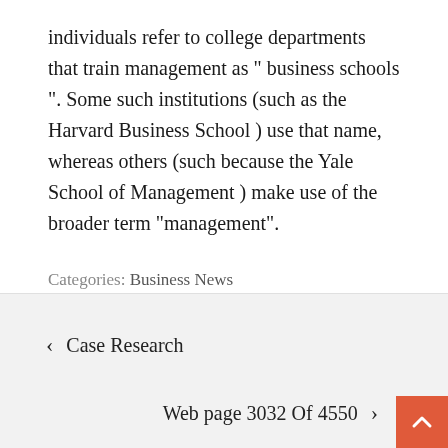individuals refer to college departments that train management as " business schools ". Some such institutions (such as the Harvard Business School ) use that name, whereas others (such because the Yale School of Management ) make use of the broader term "management".
Categories: Business News
Tags: business, events, further, island, promotions
< Case Research
Web page 3032 Of 4550 >